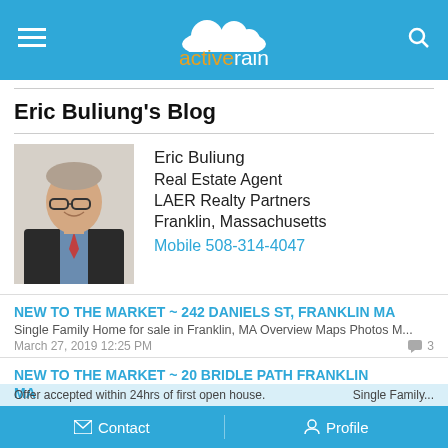activerain
Eric Buliung's Blog
Eric Buliung
Real Estate Agent
LAER Realty Partners
Franklin, Massachusetts
Mobile 508-314-4047
NEW TO THE MARKET ~ 242 DANIELS ST, FRANKLIN MA
Single Family Home for sale in Franklin, MA Overview Maps Photos M...
March 27, 2019 12:25 PM  3
NEW TO THE MARKET ~ 20 BRIDLE PATH FRANKLIN MA
Single Family Home for sale in Franklin, MA Overview Maps Photos O...
March 20, 2019 05:49 AM  3
ACCEPTED OFFER 13 WARWICK ROAD, FRANKLIN MA
Offer accepted within 24hrs of first open house.  Single Family...
February...
Contact   Profile